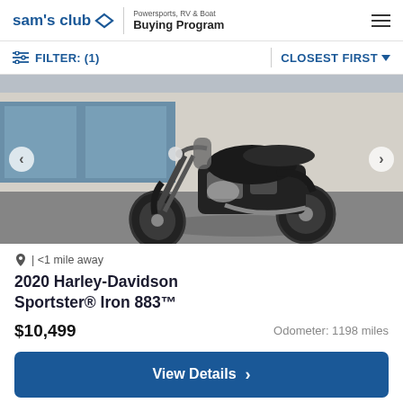sam's club ◇ | Powersports, RV & Boat Buying Program
FILTER: (1)   CLOSEST FIRST
[Figure (photo): Black Harley-Davidson motorcycle (2020 Sportster Iron 883) parked on a paved surface, facing left-front, with a building and parked vehicles in the background. Photo taken outdoors in daylight.]
| <1 mile away
2020 Harley-Davidson Sportster® Iron 883™
$10,499   Odometer: 1198 miles
View Details >